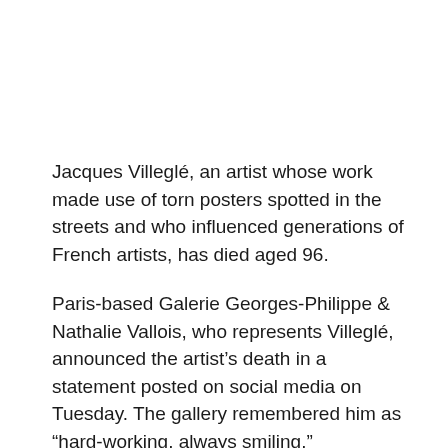Jacques Villeglé, an artist whose work made use of torn posters spotted in the streets and who influenced generations of French artists, has died aged 96.
Paris-based Galerie Georges-Philippe & Nathalie Vallois, who represents Villeglé, announced the artist's death in a statement posted on social media on Tuesday. The gallery remembered him as “hard-working, always smiling.”